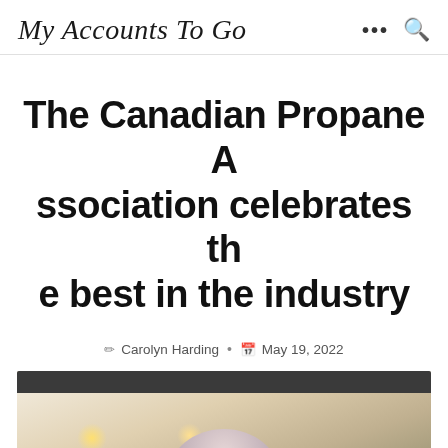My Accounts To Go
The Canadian Propane Association celebrates the best in the industry
Carolyn Harding • May 19, 2022
[Figure (photo): Indoor venue photo showing a room with ceiling lights and a person visible at the bottom, taken at a Canadian Propane Association event]